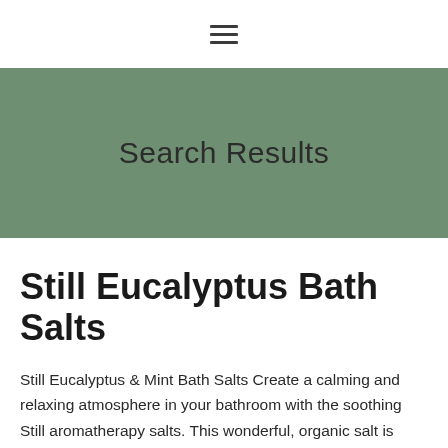≡
Search Results
Still Eucalyptus Bath Salts
Still Eucalyptus & Mint Bath Salts Create a calming and relaxing atmosphere in your bathroom with the soothing Still aromatherapy salts. This wonderful, organic salt is sourced in the heart of Himalayas. It's an ideal addition to your holistic rituals at